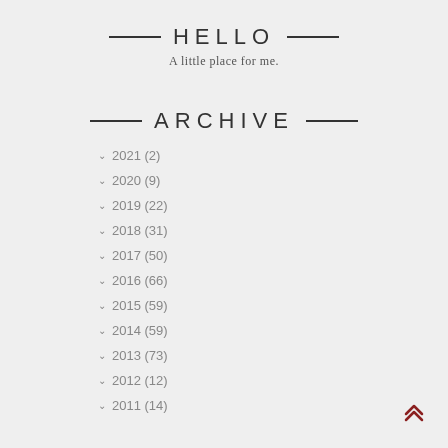HELLO
A little place for me.
ARCHIVE
2021 (2)
2020 (9)
2019 (22)
2018 (31)
2017 (50)
2016 (66)
2015 (59)
2014 (59)
2013 (73)
2012 (12)
2011 (14)